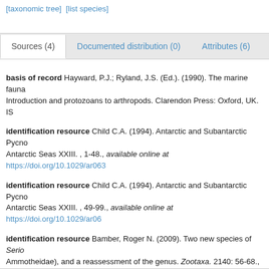[taxonomic tree]  [list species]
Sources (4) tab active; Documented distribution (0); Attributes (6); Li...
basis of record Hayward, P.J.; Ryland, J.S. (Ed.). (1990). The marine fauna... Introduction and protozoans to arthropods. Clarendon Press: Oxford, UK. IS
identification resource Child C.A. (1994). Antarctic and Subantarctic Pycno... Antarctic Seas XXIII. , 1-48., available online at https://doi.org/10.1029/ar063
identification resource Child C.A. (1994). Antarctic and Subantarctic Pycno... Antarctic Seas XXIII. , 49-99., available online at https://doi.org/10.1029/ar06
identification resource Bamber, Roger N. (2009). Two new species of Serio... Ammotheidae), and a reassessment of the genus. Zootaxa. 2140: 56-68., av... ew/zootaxa.2140.1.7 [details] Available for editors